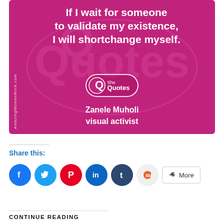[Figure (illustration): Magenta/pink quote card with 'If I wait for someone to validate my existence, I will shortchange myself.' attributed to Zanele Muholi, visual activist. Features SheQuotes logo and AmazingWomenRock.com watermark text.]
Share this:
[Figure (infographic): Row of social share buttons: Facebook (blue circle), Twitter (light blue circle), Pinterest (red circle), LinkedIn (dark blue circle), Tumblr (dark navy circle), StumbleUpon (light gray circle), and a More button with share icon.]
CONTINUE READING